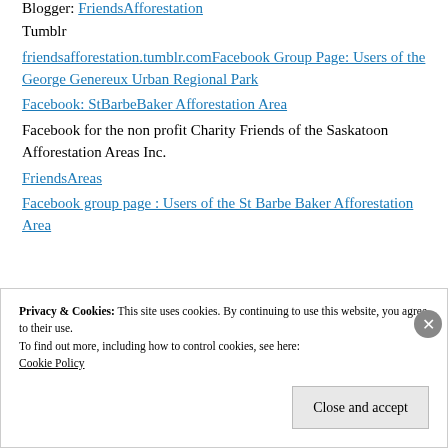Blogger: FriendsAfforestation
Tumblr
friendsafforestation.tumblr.comFacebook Group Page: Users of the George Genereux Urban Regional Park
Facebook: StBarbeBaker Afforestation Area
Facebook for the non profit Charity Friends of the Saskatoon Afforestation Areas Inc.
FriendsAreas
Facebook group page : Users of the St Barbe Baker Afforestation Area
Privacy & Cookies: This site uses cookies. By continuing to use this website, you agree to their use.
To find out more, including how to control cookies, see here:
Cookie Policy
Close and accept